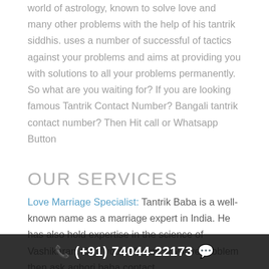world of astrology, known to solve love and many other problems with the help of his tantrik siddhis. uses a number of successful of tactics against your problems and aims at providing you with solutions to all your problems permanently. So what are you waiting for? If you are looking famous Tantrik Contact Number? Bangali tantrik contact number? Then Hit call or Whatsapp Button
OUR SERVICES
Love Marriage Specialist: Tantrik Baba is a well-known name as a marriage expert in India. He has also hold expertise in the science of Vashikaran. So if you're facing any love problem then ask aghori baba contact
(+91) 74044-22173